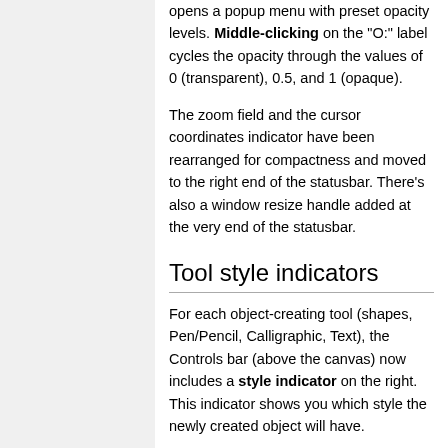opens a popup menu with preset opacity levels. Middle-clicking on the "O:" label cycles the opacity through the values of 0 (transparent), 0.5, and 1 (opaque).
The zoom field and the cursor coordinates indicator have been rearranged for compactness and moved to the right end of the statusbar. There's also a window resize handle added at the very end of the statusbar.
Tool style indicators
For each object-creating tool (shapes, Pen/Pencil, Calligraphic, Text), the Controls bar (above the canvas) now includes a style indicator on the right. This indicator shows you which style the newly created object will have.